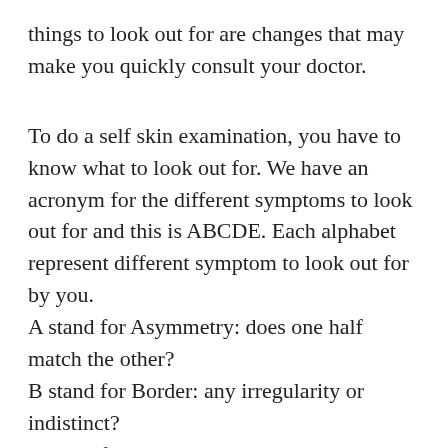things to look out for are changes that may make you quickly consult your doctor.
To do a self skin examination, you have to know what to look out for. We have an acronym for the different symptoms to look out for and this is ABCDE. Each alphabet represent different symptom to look out for by you. A stand for Asymmetry: does one half match the other? B stand for Border: any irregularity or indistinct? C stand for Colour: any changes or uneven colour?